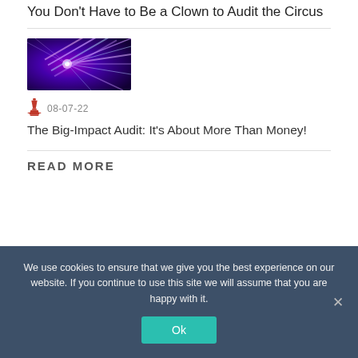You Don't Have to Be a Clown to Audit the Circus
[Figure (photo): Purple and blue abstract light rays / particle burst image]
08-07-22
The Big-Impact Audit: It’s About More Than Money!
READ MORE
We use cookies to ensure that we give you the best experience on our website. If you continue to use this site we will assume that you are happy with it.